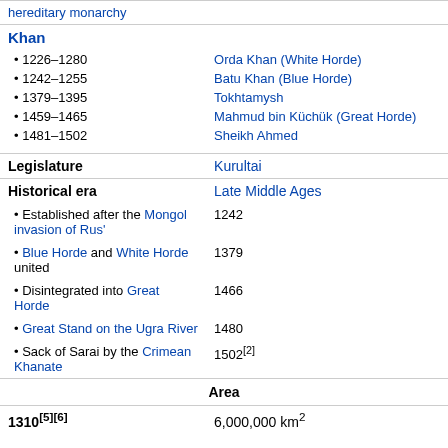| hereditary monarchy |  |
| Khan |  |
| • 1226–1280 | Orda Khan (White Horde) |
| • 1242–1255 | Batu Khan (Blue Horde) |
| • 1379–1395 | Tokhtamysh |
| • 1459–1465 | Mahmud bin Küchük (Great Horde) |
| • 1481–1502 | Sheikh Ahmed |
| Legislature | Kurultai |
| Historical era | Late Middle Ages |
| • Established after the Mongol invasion of Rus' | 1242 |
| • Blue Horde and White Horde united | 1379 |
| • Disintegrated into Great Horde | 1466 |
| • Great Stand on the Ugra River | 1480 |
| • Sack of Sarai by the Crimean Khanate | 1502[2] |
| Area |  |
| 1310[5][6] | 6,000,000 km² |